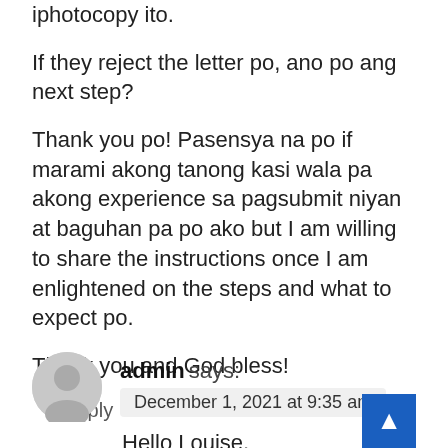iphotocopy ito.
If they reject the letter po, ano po ang next step?
Thank you po! Pasensya na po if marami akong tanong kasi wala pa akong experience sa pagsubmit niyan at baguhan pa po ako but I am willing to share the instructions once I am enlightened on the steps and what to expect po.
Thank you and God bless!
Reply
admin says:
December 1, 2021 at 9:35 am
Hello Louise,